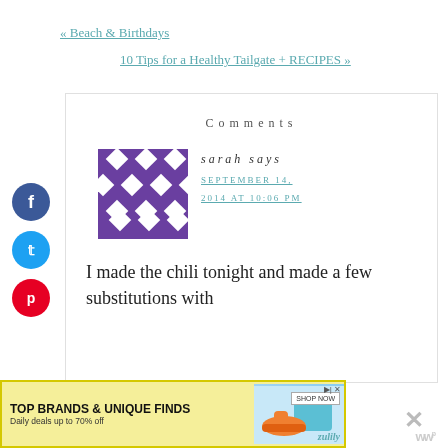« Beach & Birthdays
10 Tips for a Healthy Tailgate + RECIPES »
Comments
[Figure (illustration): Purple geometric diamond/square pattern avatar image]
sarah says
SEPTEMBER 14, 2014 AT 10:06 PM
I made the chili tonight and made a few substitutions with
[Figure (photo): Advertisement banner: TOP BRANDS & UNIQUE FINDS - Daily deals up to 70% off - zulily SHOP NOW with shoe and bag images]